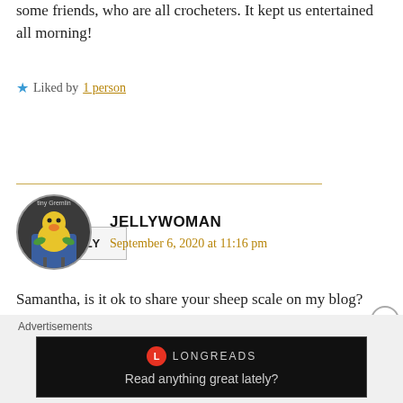some friends, who are all crocheters. It kept us entertained all morning!
★ Liked by 1 person
REPLY
JELLYWOMAN
September 6, 2020 at 11:16 pm
Samantha, is it ok to share your sheep scale on my blog? And, if so, how would you like me to credit it? Bearing in mind I'm in London, UK. Ta.
Advertisements
[Figure (screenshot): Longreads advertisement banner with dark background showing the Longreads logo and text 'Read anything great lately?']